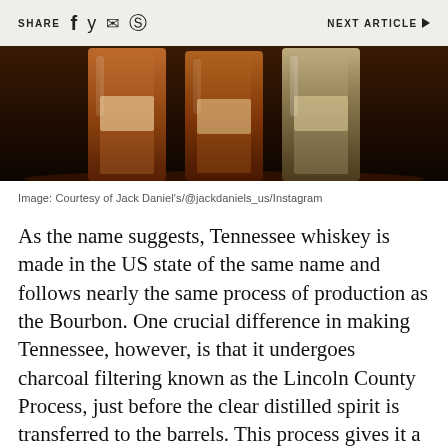SHARE   NEXT ARTICLE
[Figure (photo): Three bottles of whiskey with amber liquid, photographed from below against a dark background, showing bottle bases and labels.]
Image: Courtesy of Jack Daniel's/@jackdaniels_us/Instagram
As the name suggests, Tennessee whiskey is made in the US state of the same name and follows nearly the same process of production as the Bourbon. One crucial difference in making Tennessee, however, is that it undergoes charcoal filtering known as the Lincoln County Process, just before the clear distilled spirit is transferred to the barrels. This process gives it a distinct taste of slightly burnt wood.